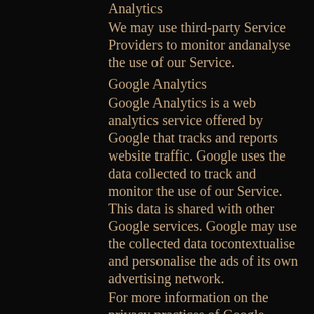Analytics
We may use third-party Service Providers to monitor andanalyse the use of our Service.
Google Analytics
Google Analytics is a web analytics service offered by Google that tracks and reports website traffic. Google uses the data collected to track and monitor the use of our Service. This data is shared with other Google services. Google may use the collected data tocontextualise and personalise the ads of its own advertising network.
For more information on the privacy practices of Google, please visit the Google Privacy & Terms web page: https://policies.google.com/privacy?hl=en
Payments
We may provide paid products and/or services within the Service. In that case, we use third-party services for payment processing (e.g. payment